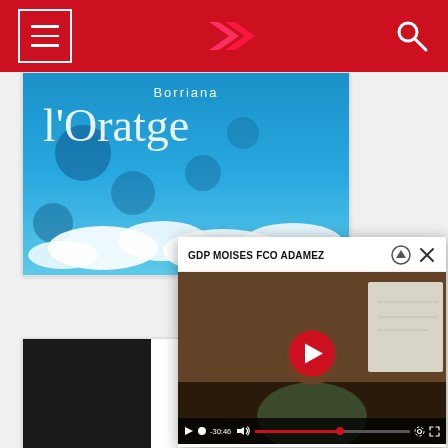Navigation header with hamburger menu, logo/chevrons, and search icon on red background
[Figure (screenshot): Screenshot of a media webpage showing a blue sky image card with text 'Borriana l'Oratge', a popup video player card titled 'GDP MOISES FCO ADAMEZ' with a person being interviewed and playback controls showing -30:46, and a partially visible dark content card below.]